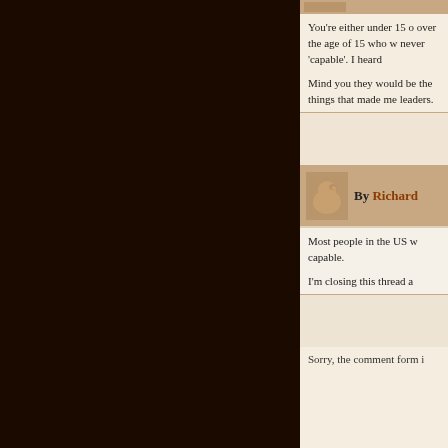You're either under 15 o over the age of 15 who w never 'capable'. I heard
Mind you they would be the things that made me leaders.
By Richard
Most people in the US w capable.
I'm closing this thread a
Sorry, the comment form i